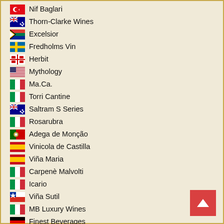Nif Baglari
Thorn-Clarke Wines
Excelsior
Fredholms Vin
Herbit
Mythology
Ma.Ca.
Torri Cantine
Saltram S Series
Rosarubra
Adega de Monção
Vinicola de Castilla
Viña Maria
Carpenè Malvolti
Icario
Viña Sutil
MB Luxury Wines
Finest Beverages
Romano
Brun Jean Marc